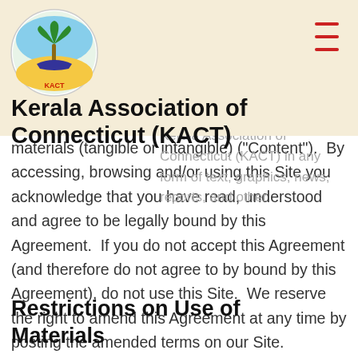Kerala Association of Connecticut (KACT)
"Agreement"), states the terms and conditions under which you may use this web site (the "Site"). Please read this Agreement carefully. This Site information relating to the Kerala Association of Connecticut (KACT) in any form of text, graphics, news, reports, and other materials (tangible or intangible) ("Content"). By accessing, browsing and/or using this Site you acknowledge that you have read, understood and agree to be legally bound by this Agreement. If you do not accept this Agreement (and therefore do not agree to by bound by this Agreement), do not use this Site. We reserve the right to amend this Agreement at any time by posting the amended terms on our Site.
Restrictions on Use of Materials